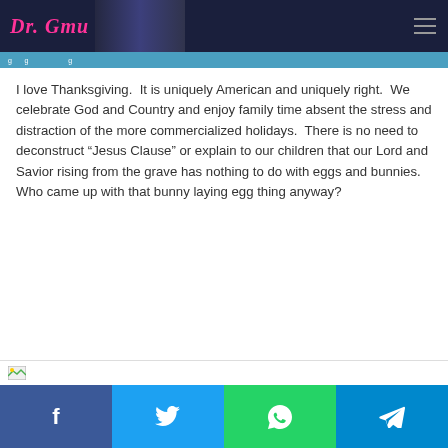Dr. Gmu [logo/header with photo]
g... g... ...g...
I love Thanksgiving.  It is uniquely American and uniquely right.  We celebrate God and Country and enjoy family time absent the stress and distraction of the more commercialized holidays.  There is no need to deconstruct “Jesus Clause” or explain to our children that our Lord and Savior rising from the grave has nothing to do with eggs and bunnies.  Who came up with that bunny laying egg thing anyway?
[Figure (photo): Small image thumbnail placeholder with broken image icon]
Social share buttons: Facebook, Twitter, WhatsApp, Telegram